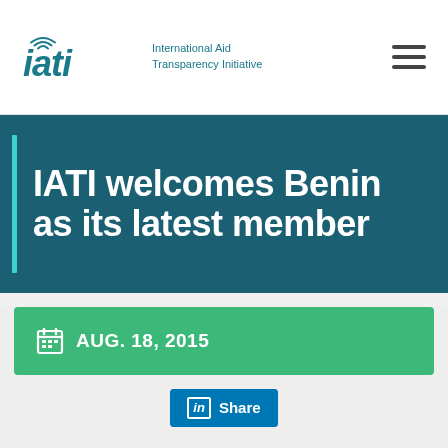IATI - International Aid Transparency Initiative
IATI welcomes Benin as its latest member
AUG. 18, 2015
Share
This week, the Republic of Benin became the latest